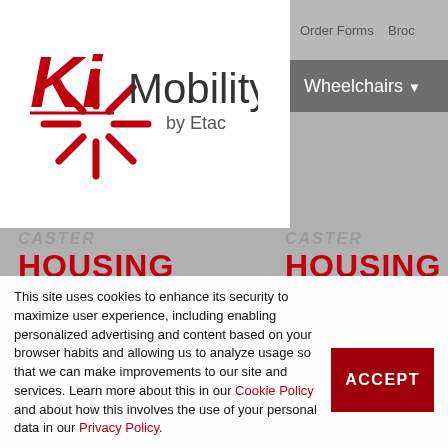[Figure (logo): Ki Mobility by Etac logo — red 'Ki' with starburst/asterisk graphic, followed by 'Mobility' in dark gray, and 'by Etac' in smaller text below]
Order Forms  Broc
Wheelchairs ▾
CASTER HOUSING
CASTER HOUSING
Learn how to make square casters on a Catalyst
Learn how to make square Standard Caster
This site uses cookies to enhance its security to maximize user experience, including enabling personalized advertising and content based on your browser habits and allowing us to analyze usage so that we can make improvements to our site and services. Learn more about this in our Cookie Policy and about how this involves the use of your personal data in our Privacy Policy.
ACCEPT